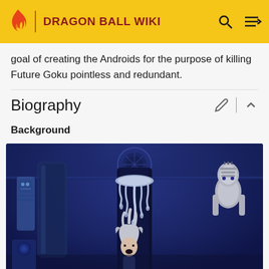DRAGON BALL WIKI
goal of creating the Androids for the purpose of killing Future Goku pointless and redundant.
Biography
Background
[Figure (illustration): Anime screenshot showing a dark blue laboratory scene with robotic/android figures and scientific equipment. A white-haired character is visible in the foreground center, with mechanical figures on the left and right sides.]